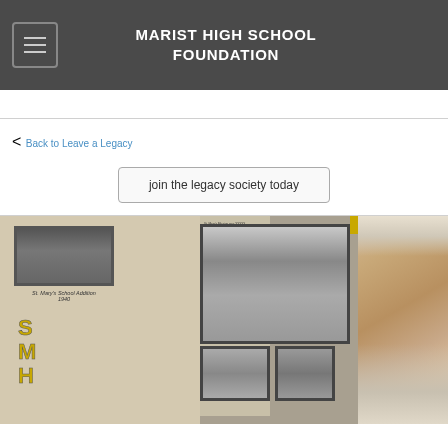MARIST HIGH SCHOOL FOUNDATION
< Back to Leave a Legacy
join the legacy society today
[Figure (photo): A school display board showing historical photos of St. Mary's School Addition 1940, SMH logo, a group photo of people outdoors, and smaller historical photographs. On the right side is a partial face of an elderly man with white hair and beard.]